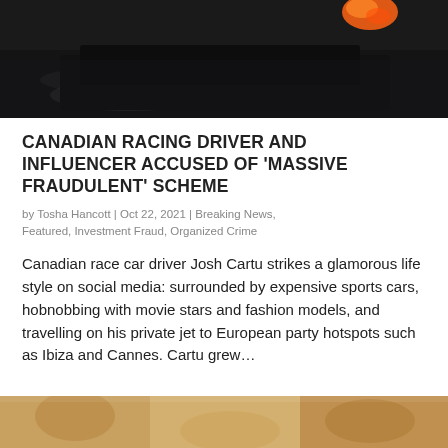[Figure (photo): Dark background photo showing a racing car with smoke and orange flame/glow, partially cropped at top]
CANADIAN RACING DRIVER AND INFLUENCER ACCUSED OF 'MASSIVE FRAUDULENT' SCHEME
by Tosha Hancott | Oct 22, 2021 | Breaking News, Featured, Investment Fraud, Organized Crime
Canadian race car driver Josh Cartu strikes a glamorous life style on social media: surrounded by expensive sports cars, hobnobbing with movie stars and fashion models, and travelling on his private jet to European party hotspots such as Ibiza and Cannes. Cartu grew…
[Figure (photo): Partial photo at the bottom of the page, cropped, showing warm golden/brown tones, appears to be a person]